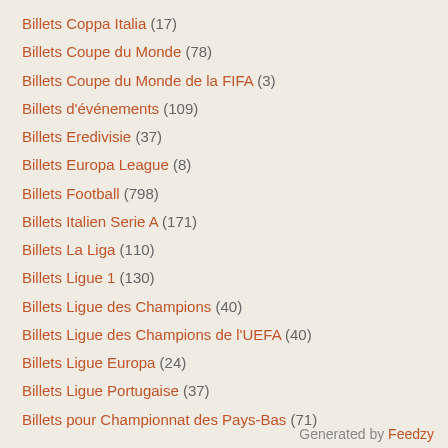Billets Coppa Italia (17)
Billets Coupe du Monde (78)
Billets Coupe du Monde de la FIFA (3)
Billets d'événements (109)
Billets Eredivisie (37)
Billets Europa League (8)
Billets Football (798)
Billets Italien Serie A (171)
Billets La Liga (110)
Billets Ligue 1 (130)
Billets Ligue des Champions (40)
Billets Ligue des Champions de l'UEFA (40)
Billets Ligue Europa (24)
Billets Ligue Portugaise (37)
Billets pour Championnat des Pays-Bas (71)
Generated by Feedzy